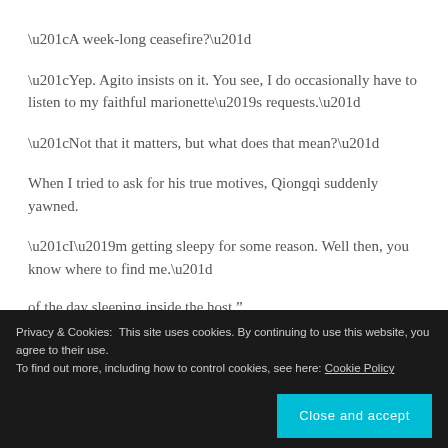“A week-long ceasefire?”
“Yep. Agito insists on it. You see, I do occasionally have to listen to my faithful marionette’s requests.”
“Not that it matters, but what does that mean?”
When I tried to ask for his true motives, Qiongqi suddenly yawned.
“I’m getting sleepy for some reason. Well then, you know where to find me.”
of the day sleeping inside the host.”
Privacy & Cookies: This site uses cookies. By continuing to use this website, you agree to their use.
To find out more, including how to control cookies, see here: Cookie Policy
Close and accept